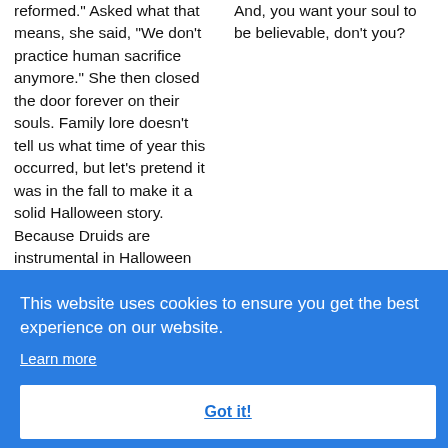reformed." Asked what that means, she said, "We don't practice human sacrifice anymore." She then closed the door forever on their souls. Family lore doesn't tell us what time of year this occurred, but let's pretend it was in the fall to make it a solid Halloween story. Because Druids are instrumental in Halloween tradition.
And, you want your soul to be believable, don't you?
[Figure (screenshot): Cookie consent banner with blue background. Text reads: 'This website uses cookies to ensure you get the best experience on our website.' with a 'Learn more' link and a 'Got it!' button.]
Well
everyone can get behind.
nd the correct American pronunciation is